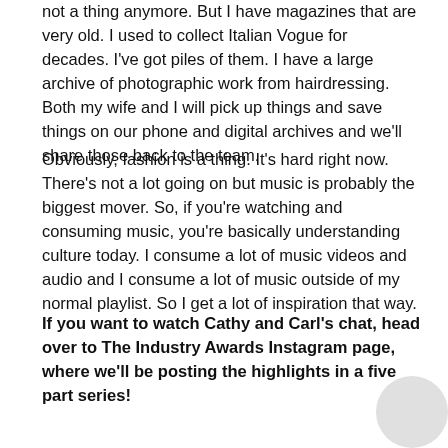not a thing anymore. But I have magazines that are very old. I used to collect Italian Vogue for decades. I've got piles of them. I have a large archive of photographic work from hairdressing. Both my wife and I will pick up things and save things on our phone and digital archives and we'll share those back to the team.
Obviously, fashion is a thing. It's hard right now. There's not a lot going on but music is probably the biggest mover. So, if you're watching and consuming music, you're basically understanding culture today. I consume a lot of music videos and audio and I consume a lot of music outside of my normal playlist. So I get a lot of inspiration that way.
If you want to watch Cathy and Carl's chat, head over to The Industry Awards Instagram page, where we'll be posting the highlights in a five part series!